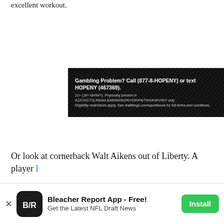excellent workout.
[Figure (other): DraftKings gambling disclaimer advertisement banner with dark background and diagonal stripe pattern. Text reads: 'Gambling Problem? Call (877-8-HOPENY) or text HOPENY (467369). 21+ (18+ NH/WY). Physically present in AZ/CO/CT/IL/IN/IA/LA/MI/NH/NJ/NY/OR/PA/TN/VA/WV/WY only. Eligibility restrictions apply. See draftkings.com/sportsbook for full terms and conditions.']
Or look at cornerback Walt Aikens out of Liberty. A player l
[Figure (other): Bleacher Report app install banner at bottom of page. Shows B/R logo on dark rounded square icon, text 'Bleacher Report App - Free!' and 'Get the Latest NFL Draft News', with a green Install button on the right. An X close button is on the far left.]